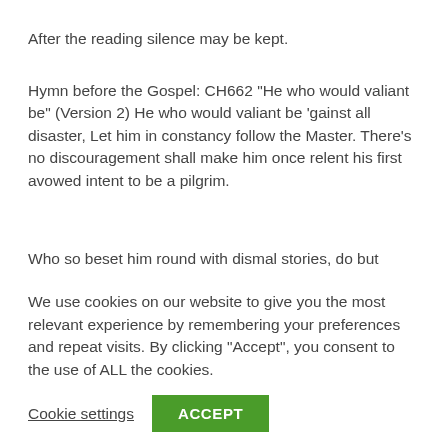After the reading silence may be kept.
Hymn before the Gospel: CH662 “He who would valiant be” (Version 2) He who would valiant be ’gainst all disaster, Let him in constancy follow the Master. There’s no discouragement shall make him once relent his first avowed intent to be a pilgrim.
Who so beset him round with dismal stories, do but themselves confound – his strength the more is. No foes shall stay his might, though he with giants fight: he will
We use cookies on our website to give you the most relevant experience by remembering your preferences and repeat visits. By clicking “Accept”, you consent to the use of ALL the cookies.
Cookie settings   ACCEPT